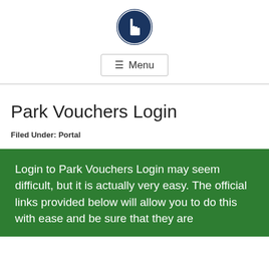[Figure (logo): Dark navy blue circular logo with a white hand/finger pointer icon in the center]
≡ Menu
Park Vouchers Login
Filed Under: Portal
Login to Park Vouchers Login may seem difficult, but it is actually very easy. The official links provided below will allow you to do this with ease and be sure that they are